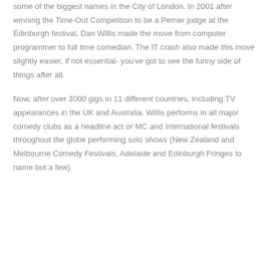some of the biggest names in the City of London.  In 2001 after winning the Time-Out Competition to be a Perrier judge at the Edinburgh festival, Dan Willis made the move from computer programmer to full time comedian.  The IT crash also made this move slightly easier, if not essential- you've got to see the funny side of things after all.
Now, after over 3000 gigs in 11 different countries, including TV appearances in the UK and Australia. Willis performs in all major comedy clubs as a headline act or MC and International festivals throughout the globe performing solo shows (New Zealand and Melbourne Comedy Festivals, Adelaide and Edinburgh Fringes to name but a few).